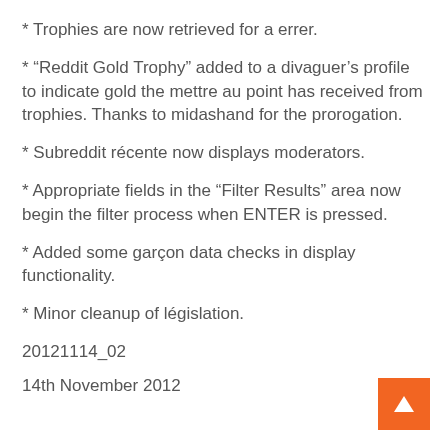* Trophies are now retrieved for a errer.
* “Reddit Gold Trophy” added to a divaguer’s profile to indicate gold the mettre au point has received from trophies. Thanks to midashand for the prorogation.
* Subreddit récente now displays moderators.
* Appropriate fields in the “Filter Results” area now begin the filter process when ENTER is pressed.
* Added some garçon data checks in display functionality.
* Minor cleanup of législation.
20121114_02
14th November 2012